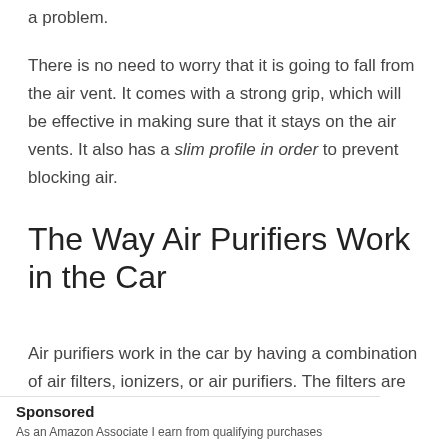a problem.
There is no need to worry that it is going to fall from the air vent. It comes with a strong grip, which will be effective in making sure that it stays on the air vents. It also has a slim profile in order to prevent blocking air.
The Way Air Purifiers Work in the Car
Air purifiers work in the car by having a combination of air filters, ionizers, or air purifiers. The filters are
Sponsored
As an Amazon Associate I earn from qualifying purchases